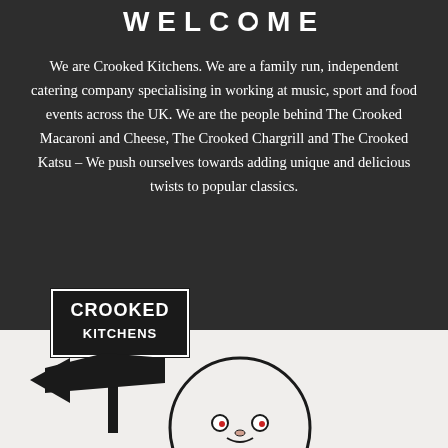WELCOME
We are Crooked Kitchens. We are a family run, independent catering company specialising in working at music, sport and food events across the UK. We are the people behind The Crooked Macaroni and Cheese, The Crooked Chargrill and The Crooked Katsu – We push ourselves towards adding unique and delicious twists to popular classics.
[Figure (logo): Crooked Kitchens logo — a signpost with a rectangular board reading CROOKED KITCHENS, with a large arrow below pointing left, black and white illustration]
[Figure (illustration): Partial illustration of a chef character, circular head visible at bottom of page, black and white]